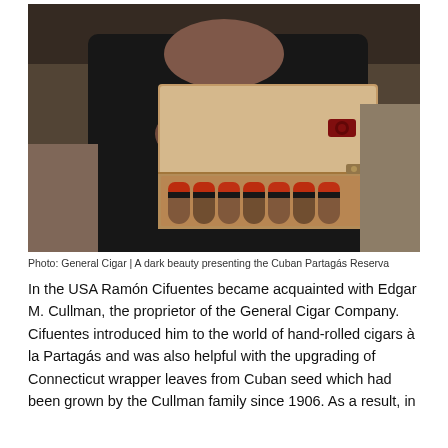[Figure (photo): A dark-haired woman in a black outfit holding an open cedar cigar box containing a row of Partagás cigars with red and black bands, presented at an event.]
Photo: General Cigar | A dark beauty presenting the Cuban Partagás Reserva
In the USA Ramón Cifuentes became acquainted with Edgar M. Cullman, the proprietor of the General Cigar Company. Cifuentes introduced him to the world of hand-rolled cigars à la Partagás and was also helpful with the upgrading of Connecticut wrapper leaves from Cuban seed which had been grown by the Cullman family since 1906. As a result, in